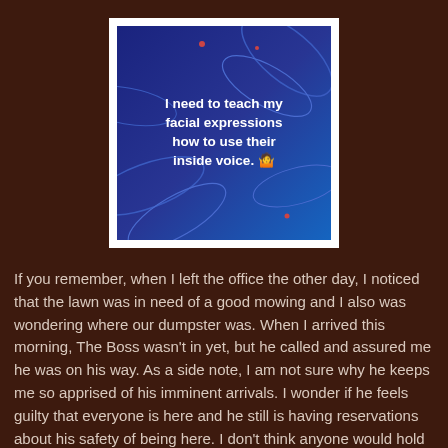[Figure (illustration): A dark navy blue background with decorative leaf/floral shapes, containing bold white text: 'I need to teach my facial expressions how to use their inside voice.' with a person shrugging emoji]
If you remember, when I left the office the other day, I noticed that the lawn was in need of a good mowing and I also was wondering where our dumpster was. When I arrived this morning, The Boss wasn't in yet, but he called and assured me he was on his way. As a side note, I am not sure why he keeps me so apprised of his imminent arrivals. I wonder if he feels guilty that everyone is here and he still is having reservations about his safety of being here. I don't think anyone would hold it against him if he stayed home a bit longer.